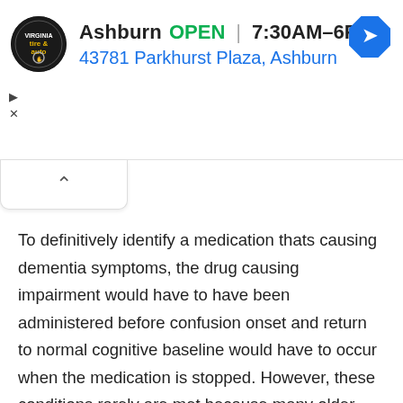[Figure (screenshot): Advertisement banner for a Virginia Tire & Auto location in Ashburn. Shows circular logo, business name 'Ashburn', green 'OPEN' label, hours '7:30AM–6PM', address '43781 Parkhurst Plaza, Ashburn' in blue, and a blue navigation diamond icon. Also shows play and close (X) ad control buttons.]
To definitively identify a medication thats causing dementia symptoms, the drug causing impairment would have to have been administered before confusion onset and return to normal cognitive baseline would have to occur when the medication is stopped. However, these conditions rarely are met because many older adults take multiple medications. Medicines that can potentiate delirium in adults older than 65 years are found in the American Geriatric Society 2019